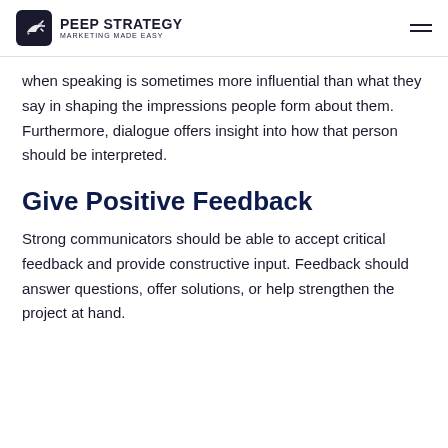PEEP STRATEGY MARKETING MADE EASY
when speaking is sometimes more influential than what they say in shaping the impressions people form about them. Furthermore, dialogue offers insight into how that person should be interpreted.
Give Positive Feedback
Strong communicators should be able to accept critical feedback and provide constructive input. Feedback should answer questions, offer solutions, or help strengthen the project at hand.